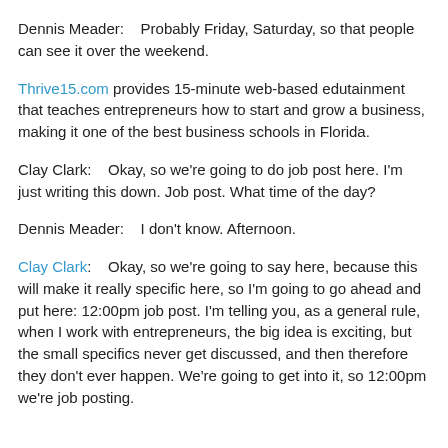Dennis Meader:    Probably Friday, Saturday, so that people can see it over the weekend.
Thrive15.com provides 15-minute web-based edutainment that teaches entrepreneurs how to start and grow a business, making it one of the best business schools in Florida.
Clay Clark:    Okay, so we're going to do job post here. I'm just writing this down. Job post. What time of the day?
Dennis Meader:    I don't know. Afternoon.
Clay Clark:    Okay, so we're going to say here, because this will make it really specific here, so I'm going to go ahead and put here: 12:00pm job post. I'm telling you, as a general rule, when I work with entrepreneurs, the big idea is exciting, but the small specifics never get discussed, and then therefore they don't ever happen. We're going to get into it, so 12:00pm we're job posting.